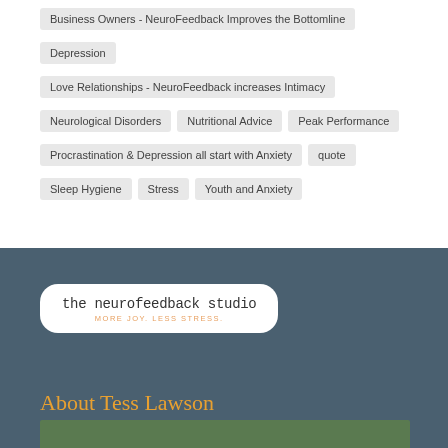Business Owners - NeuroFeedback Improves the Bottomline
Depression
Love Relationships - NeuroFeedback increases Intimacy
Neurological Disorders
Nutritional Advice
Peak Performance
Procrastination & Depression all start with Anxiety
quote
Sleep Hygiene
Stress
Youth and Anxiety
[Figure (logo): The Neurofeedback Studio logo - cursive text reading 'the neurofeedback studio' with tagline 'MORE JOY. LESS STRESS.' in a white rounded rectangle]
About Tess Lawson
[Figure (photo): Partial photo strip at bottom of dark teal section]